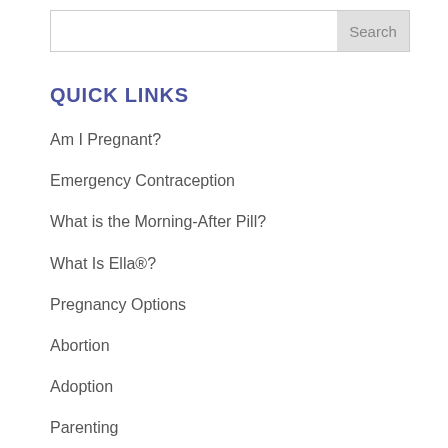QUICK LINKS
Am I Pregnant?
Emergency Contraception
What is the Morning-After Pill?
What Is Ella®?
Pregnancy Options
Abortion
Adoption
Parenting